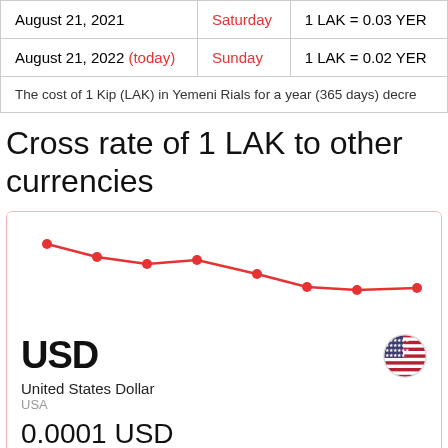| Date | Day | Rate |
| --- | --- | --- |
| August 21, 2021 | Saturday | 1 LAK = 0.03 YER |
| August 21, 2022 (today) | Sunday | 1 LAK = 0.02 YER |
| The cost of 1 Kip (LAK) in Yemeni Rials for a year (365 days) decre |  |  |
Cross rate of 1 LAK to other currencies
[Figure (line-chart): Line chart showing a declining trend of LAK to USD exchange rate with red dots and line]
USD
United States Dollar
USA
0.0001 USD